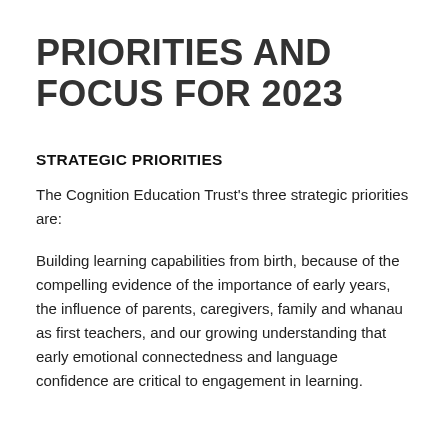PRIORITIES AND FOCUS FOR 2023
STRATEGIC PRIORITIES
The Cognition Education Trust's three strategic priorities are:
Building learning capabilities from birth, because of the compelling evidence of the importance of early years, the influence of parents, caregivers, family and whanau as first teachers, and our growing understanding that early emotional connectedness and language confidence are critical to engagement in learning.